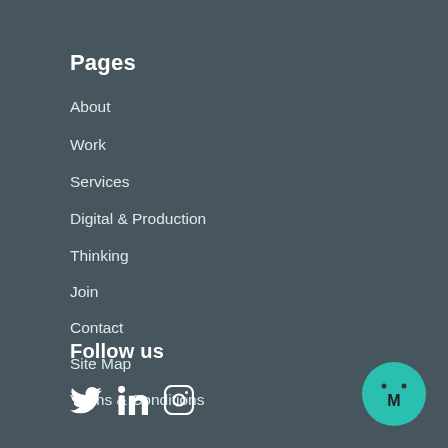Pages
About
Work
Services
Digital & Production
Thinking
Join
Contact
Site Map
Terms & Conditions
Follow us
[Figure (logo): Social media icons: Twitter, LinkedIn, Instagram]
[Figure (logo): Teal circular logo with letter M and two dots above]